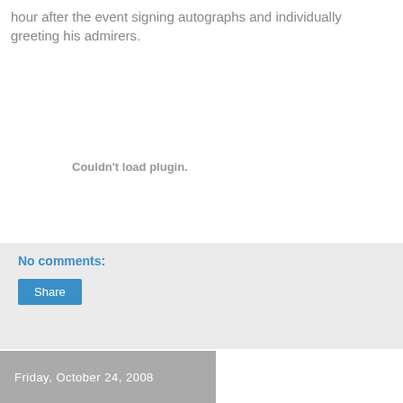hour after the event signing autographs and individually greeting his admirers.
Couldn't load plugin.
No comments:
Share
Friday, October 24, 2008